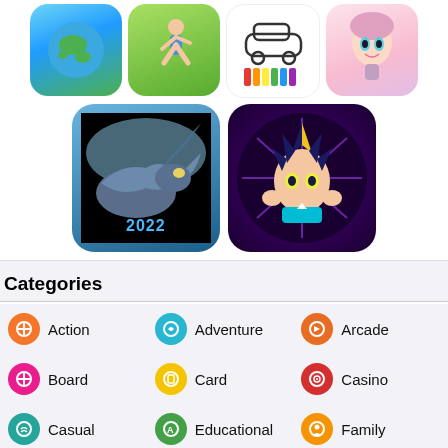[Figure (screenshot): Grid of app icons: row 1 has 4 icons (earth/globe game, running character game, coloring book with crayons, anime girl); row 2 has 2 larger icons (dragon fantasy game 2022, anime card battle game)]
Categories
Action
Adventure
Arcade
Board
Card
Casino
Casual
Educational
Family
Music
Puzzle
Racing
Role Playing
Simulation
Sports
Strategy
Trivia
Word